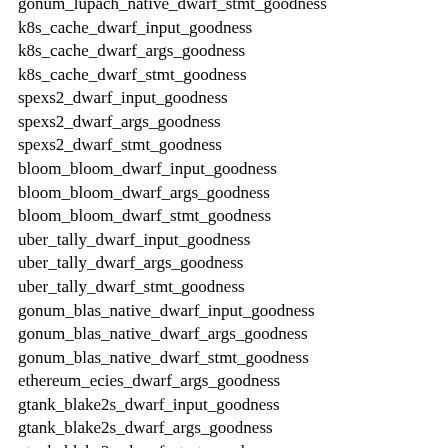gonum_lupach_native_dwarf_stmt_goodness
k8s_cache_dwarf_input_goodness
k8s_cache_dwarf_args_goodness
k8s_cache_dwarf_stmt_goodness
spexs2_dwarf_input_goodness
spexs2_dwarf_args_goodness
spexs2_dwarf_stmt_goodness
bloom_bloom_dwarf_input_goodness
bloom_bloom_dwarf_args_goodness
bloom_bloom_dwarf_stmt_goodness
uber_tally_dwarf_input_goodness
uber_tally_dwarf_args_goodness
uber_tally_dwarf_stmt_goodness
gonum_blas_native_dwarf_input_goodness
gonum_blas_native_dwarf_args_goodness
gonum_blas_native_dwarf_stmt_goodness
ethereum_ecies_dwarf_args_goodness
gtank_blake2s_dwarf_input_goodness
gtank_blake2s_dwarf_args_goodness
gtank_blake2s_dwarf_stmt_goodness
nelsam_gxui_interval_dwarf_input_goodness
nelsam_gxui_interval_dwarf_args_goodness
nelsam_gxui_interval_dwarf_stmt_goodness